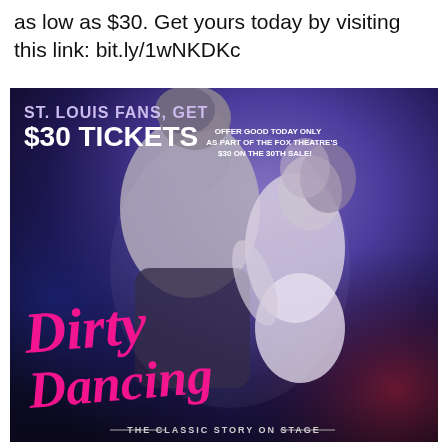as low as $30. Get yours today by visiting this link: bit.ly/1wNKDKc
[Figure (illustration): Promotional poster for Dirty Dancing – The Classic Story on Stage. Black and white photo of two dancers embracing against a purple/blue gradient background. Text overlay reads: 'ST. LOUIS FANS, GET $30 TICKETS' and 'OFFER GOOD TODAY ONLY AS PART OF THE FOX THEATRE'S $30 ON THE 30TH SALE!' The Dirty Dancing logo in hot pink cursive script appears in the lower left, with 'THE CLASSIC STORY ON STAGE' subtitle at the bottom center.]